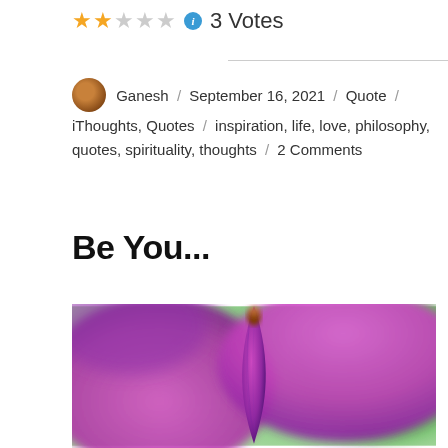★★☆☆☆ ℹ 3 Votes
Ganesh / September 16, 2021 / Quote / iThoughts, Quotes / inspiration, life, love, philosophy, quotes, spirituality, thoughts / 2 Comments
Be You...
[Figure (photo): Close-up photograph of a purple iris or similar flower with a pointed petal in focus against a blurred green and magenta background]